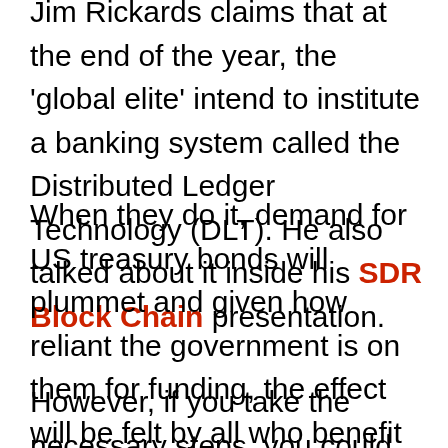Jim Rickards claims that at the end of the year, the 'global elite' intend to institute a banking system called the Distributed Ledger Technology (DLT). He also talked about it inside his SDR Block Chain presentation.
When they do it, demand for US treasury bonds will plummet and given how reliant the government is on them for funding, the effect will be felt by all who benefit from welfare programs like Medicare and Social Security.
However, if you take the necessary steps, you could mint a fortune by the end of the year (2019).